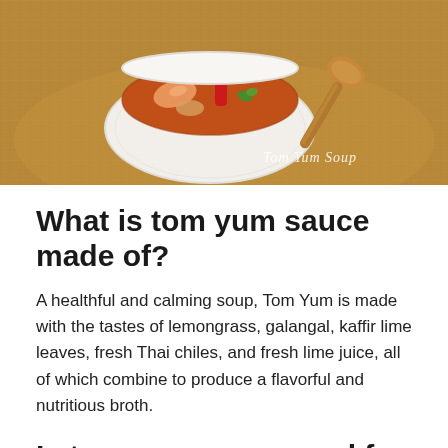[Figure (photo): Photo of Tom Yum Soup in a white decorative bowl on a wicker mat with a wooden spoon, with italic watermark text 'Tom Yum Soup' in the lower right corner]
What is tom yum sauce made of?
A healthful and calming soup, Tom Yum is made with the tastes of lemongrass, galangal, kaffir lime leaves, fresh Thai chiles, and fresh lime juice, all of which combine to produce a flavorful and nutritious broth.
Is tom yum soup good for digestion?